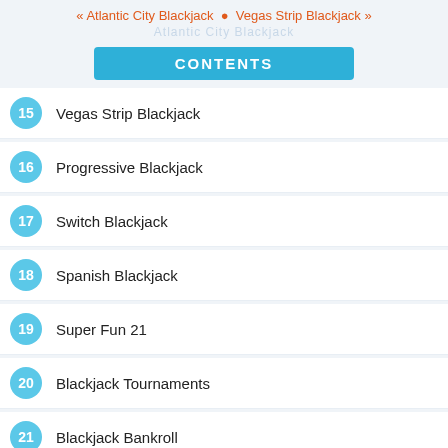« Atlantic City Blackjack  •  Vegas Strip Blackjack »
CONTENTS
15  Vegas Strip Blackjack
16  Progressive Blackjack
17  Switch Blackjack
18  Spanish Blackjack
19  Super Fun 21
20  Blackjack Tournaments
21  Blackjack Bankroll
22  Soft Hands in Blackjack
23  Hard Hands in Blackjack
24  Pairs in Blackjack
25  Blackjack Odds & Probabilities